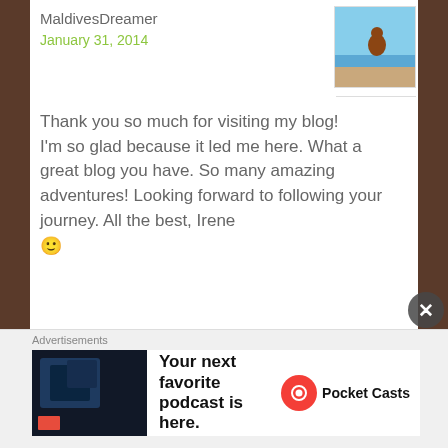MaldivesDreamer
January 31, 2014
Thank you so much for visiting my blog! I'm so glad because it led me here. What a great blog you have. So many amazing adventures! Looking forward to following your journey. All the best, Irene 🙂
Like
Reply  Rate This
Globe Runner
February 2, 2014
Thanks for your kind visit Irene,
Advertisements
Your next favorite podcast is here.
Pocket Casts